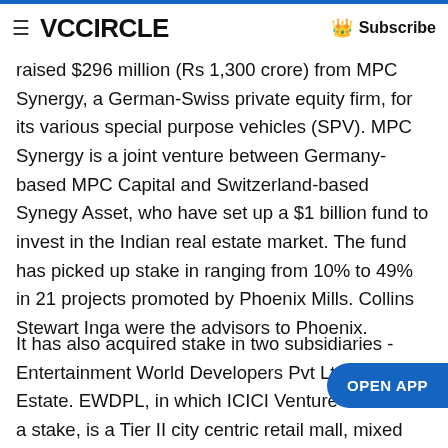VCCiRCLE   Subscribe
raised $296 million (Rs 1,300 crore) from MPC Synergy, a German-Swiss private equity firm, for its various special purpose vehicles (SPV). MPC Synergy is a joint venture between Germany-based MPC Capital and Switzerland-based Synegy Asset, who have set up a $1 billion fund to invest in the Indian real estate market. The fund has picked up stake in ranging from 10% to 49% in 21 projects promoted by Phoenix Mills. Collins Stewart Inga were the advisors to Phoenix.
It has also acquired stake in two subsidiaries - Entertainment World Developers Pvt Ltd and Real Estate. EWDPL, in which ICICI Venture also holds a stake, is a Tier II city centric retail mall, mixed use developer, engaged in the construction and operation of